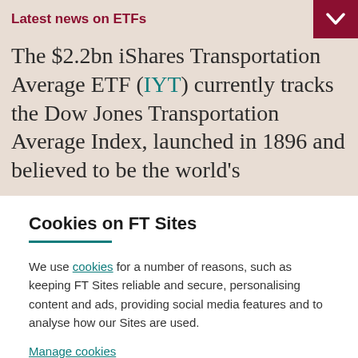Latest news on ETFs
The $2.2bn iShares Transportation Average ETF (IYT) currently tracks the Dow Jones Transportation Average Index, launched in 1896 and believed to be the world’s
Cookies on FT Sites
We use cookies for a number of reasons, such as keeping FT Sites reliable and secure, personalising content and ads, providing social media features and to analyse how our Sites are used.
Manage cookies
Accept & continue